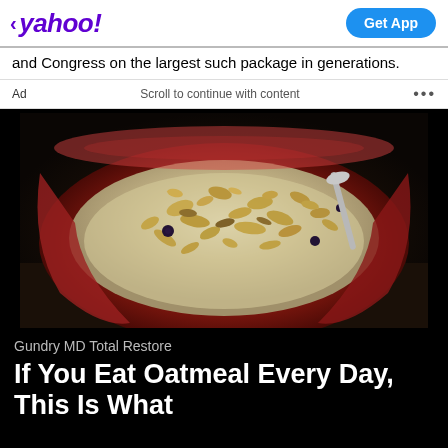< yahoo!
and Congress on the largest such package in generations.
Ad   Scroll to continue with content   ...
[Figure (photo): A red bowl filled with oatmeal topped with chopped nuts (almonds) and blueberries, with a spoon visible on the right side.]
Gundry MD Total Restore
If You Eat Oatmeal Every Day, This Is What